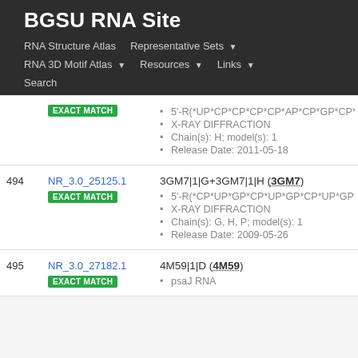BGSU RNA Site
RNA Structure Atlas | Representative Sets ▾ | RNA 3D Motif Atlas ▾ | Resources ▾ | Links ▾ | Search
| # | ID / Match | Details |
| --- | --- | --- |
|  | NR_3.0_25125.1 EXACT MATCH | 3GM7|1|G+3GM7|1|H (3GM7)
• 5'-R(*UP*CP*CP*CP*CP*AP*CP*GP*CP*G
• X-RAY DIFFRACTION
• Chain(s): H; model(s): 1
• Release Date: 2011-05-18 |
| 494 | NR_3.0_25125.1 EXACT MATCH | 3GM7|1|G+3GM7|1|H (3GM7)
• 5'-R(*CP*UP*GP*CP*UP*GP*CP*UP*GP*C
• X-RAY DIFFRACTION
• Chain(s): G, H, P; model(s): 1
• Release Date: 2009-05-26 |
| 495 | NR_3.0_27182.1 EXACT MATCH | 4M59|1|D (4M59)
• psaJ RNA |